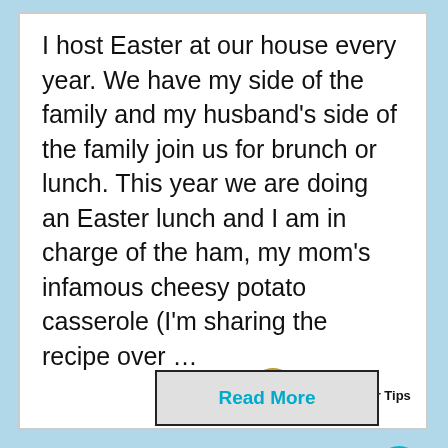I host Easter at our house every year. We have my side of the family and my husband's side of the family join us for brunch or lunch. This year we are doing an Easter lunch and I am in charge of the ham, my mom's infamous cheesy potato casserole (I'm sharing the recipe over …
Read More
WHAT'S NEXT → Mompreneur Tips